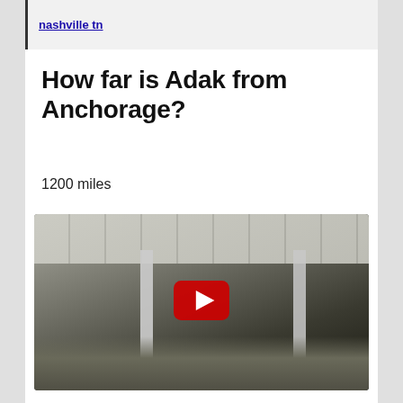nashville tn
How far is Adak from Anchorage?
1200 miles
[Figure (screenshot): YouTube video thumbnail showing an abandoned building interior with collapsed ceiling tiles scattered on the floor, white pillars, fluorescent lighting, and a red YouTube play button overlay in the center.]